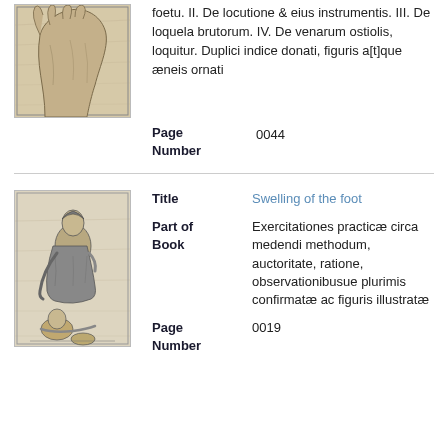[Figure (illustration): Cropped illustration of a hand/arm, historical medical engraving with aged paper background]
foetu. II. De locutione & eius instrumentis. III. De loquela brutorum. IV. De venarum ostiolis, loquitur. Duplici indice donati, figuris a[t]que æneis ornati
Page Number   0044
[Figure (illustration): Historical medical illustration showing a seated figure examining or treating a patient, black and white engraving]
Title   Swelling of the foot
Part of Book   Exercitationes practicæ circa medendi methodum, auctoritate, ratione, observationibusue plurimis confirmatæ ac figuris illustratæ
Page Number   0019